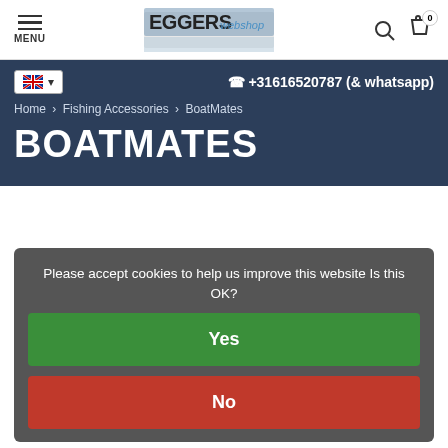MENU | Eggers Webshop Logo | Search | Cart (0)
+31616520787 (& whatsapp)
Home > Fishing Accessories > BoatMates
BOATMATES
Please accept cookies to help us improve this website Is this OK?
Yes
No
More on cookies »